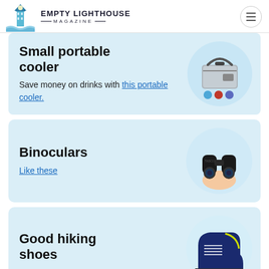EMPTY LIGHTHOUSE MAGAZINE
Small portable cooler
Save money on drinks with this portable cooler.
[Figure (photo): Small portable cooler bag with shoulder strap, gray, shown with small colorful accessories below]
Binoculars
Like these
[Figure (photo): Compact black binoculars held in a hand]
Good hiking shoes